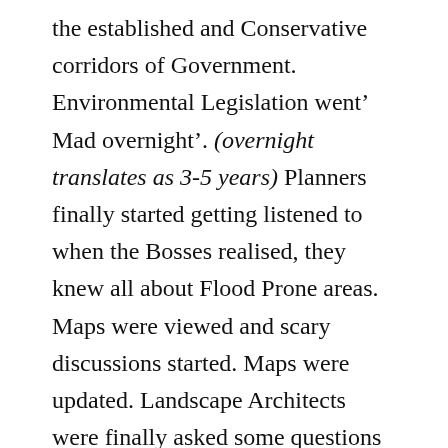the established and Conservative corridors of Government. Environmental Legislation went’ Mad overnight’. (overnight translates as 3-5 years) Planners finally started getting listened to when the Bosses realised, they knew all about Flood Prone areas. Maps were viewed and scary discussions started. Maps were updated. Landscape Architects were finally asked some questions by the Boss like – “how many those trees we gonna get in this Year?” Me- “plenty Boss”, and we did! At Hobart City Council we were doing much native plant re-vegetation and restoration of long-term heavy-duty weeds infestations on Hills face zones (staff got seriously fit on those Jobs), installing Main Street Long Term Tree Canopies and generally Greening up Hobart. This early boss was always straight to the point, but not